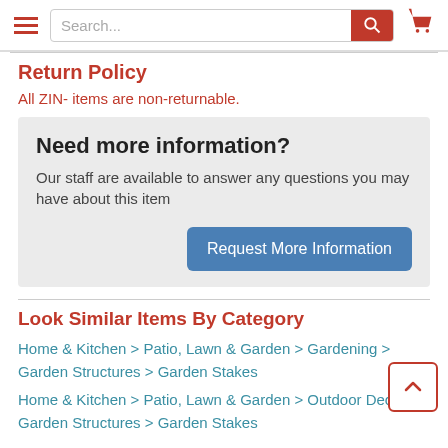Search... [search bar] [cart icon]
Return Policy
All ZIN- items are non-returnable.
Need more information? Our staff are available to answer any questions you may have about this item
Request More Information
Look Similar Items By Category
Home & Kitchen > Patio, Lawn & Garden > Gardening > Garden Structures > Garden Stakes
Home & Kitchen > Patio, Lawn & Garden > Outdoor Decor > Garden Structures > Garden Stakes